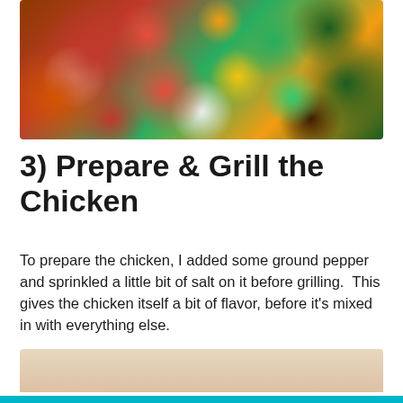[Figure (photo): A bowl of colorful salad with black beans, red and yellow bell peppers, onions, tomatoes, and herbs]
3) Prepare & Grill the Chicken
To prepare the chicken, I added some ground pepper and sprinkled a little bit of salt on it before grilling.  This gives the chicken itself a bit of flavor, before it's mixed in with everything else.
[Figure (photo): Raw chicken breasts on a plate, seasoned with pepper, ready for grilling]